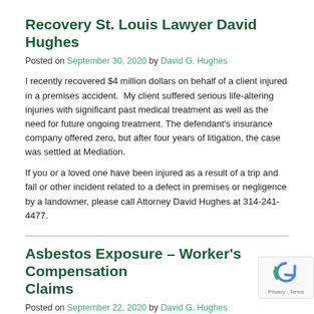Recovery St. Louis Lawyer David Hughes
Posted on September 30, 2020 by David G. Hughes
I recently recovered $4 million dollars on behalf of a client injured in a premises accident.  My client suffered serious life-altering injuries with significant past medical treatment as well as the need for future ongoing treatment. The defendant's insurance company offered zero, but after four years of litigation, the case was settled at Mediation.
If you or a loved one have been injured as a result of a trip and fall or other incident related to a defect in premises or negligence by a landowner, please call Attorney David Hughes at 314-241-4477.
Asbestos Exposure – Worker's Compensation Claims
Posted on September 22, 2020 by David G. Hughes
I recently recovered $650,000.00 in a Missouri Worker's